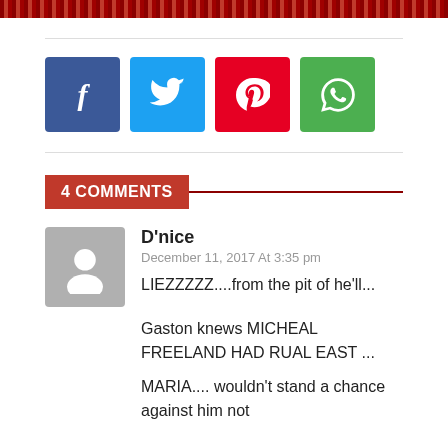[Figure (other): Dark red/maroon decorative banner strip at top of page]
[Figure (infographic): Row of four social media share buttons: Facebook (blue), Twitter (cyan), Pinterest (red), WhatsApp (green)]
4 COMMENTS
D'nice
December 11, 2017 At 3:35 pm
LIEZZZZZ....from the pit of he'll...
Gaston knews MICHEAL FREELAND HAD RUAL EAST ...
MARIA.... wouldn't stand a chance against him not